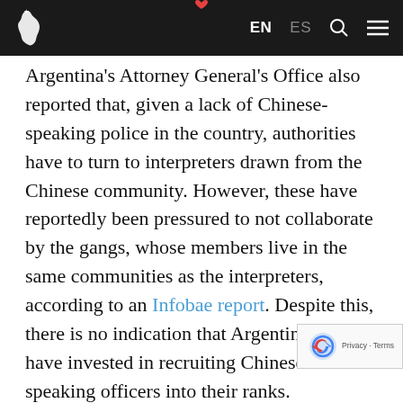EN  ES
Argentina's Attorney General's Office also reported that, given a lack of Chinese-speaking police in the country, authorities have to turn to interpreters drawn from the Chinese community. However, these have reportedly been pressured to not collaborate by the gangs, whose members live in the same communities as the interpreters, according to an Infobae report. Despite this, there is no indication that Argentine police have invested in recruiting Chinese speaking officers into their ranks.
What's more, a US Defense Department report identified a certain "reticence" from Argentine citizens of Chinese origin in collaborating